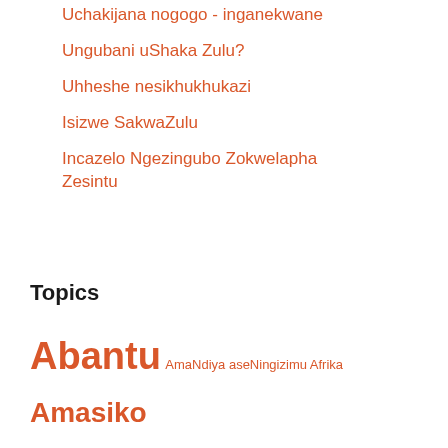Uchakijana nogogo - inganekwane
Ungubani uShaka Zulu?
Uhheshe nesikhukhukazi
Isizwe SakwaZulu
Incazelo Ngezingubo Zokwelapha Zesintu
Topics
Abantu  AmaNdiya aseNingizimu Afrika  Amasiko esintu  arts  Clan Praises  Communities  Durban  Ekhaya  eThekwini  eThekwini Municipality